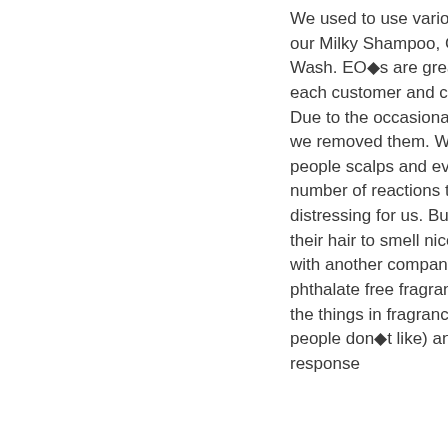We used to use various Essential Oils in our Milky Shampoo, Conditioner and Milk Wash. EO■s are great if we could talk to each customer and check for allergies. Due to the occasional reaction to EO■s, we removed them. We want to sooth people scalps and even a very small number of reactions to EO■s was distressing for us. But people still want their hair to smell nice. So we worked with another company to develop phthalate free fragrant oil (phthalates are the things in fragrances that a lot of people don■t like) and since then the response
Fragrant Oil (Phthlate Free)